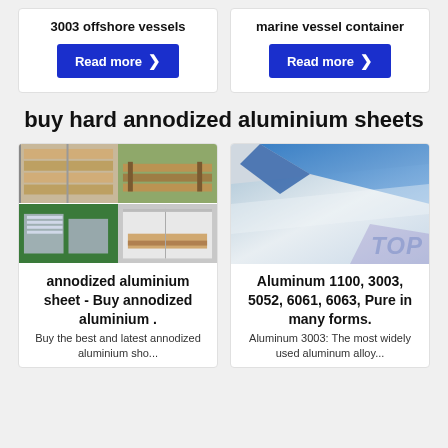3003 offshore vessels
Read more
marine vessel container
Read more
buy hard annodized aluminium sheets
[Figure (photo): Four-panel grid showing aluminium sheets stacked in warehouse, large stack of flat sheets outdoors, aluminium profiles on green floor, and sheets loaded in a shipping container]
[Figure (photo): Close-up of aluminium sheet with blue protective film peeled back, revealing shiny metallic surface]
annodized aluminium sheet - Buy annodized aluminium .
Buy the best and latest annodized aluminium sho...
Aluminum 1100, 3003, 5052, 6061, 6063, Pure in many forms.
Aluminum 3003: The most widely used aluminum alloy...